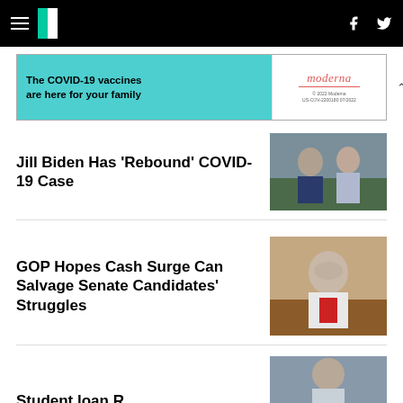HuffPost navigation bar with hamburger menu, logo, Facebook and Twitter icons
[Figure (other): Moderna COVID-19 vaccine advertisement banner: 'The COVID-19 vaccines are here for your family' with Moderna logo]
Jill Biden Has 'Rebound' COVID-19 Case
[Figure (photo): Photo of Joe and Jill Biden walking outdoors]
GOP Hopes Cash Surge Can Salvage Senate Candidates' Struggles
[Figure (photo): Photo of Mitch McConnell at a podium]
Student loan...